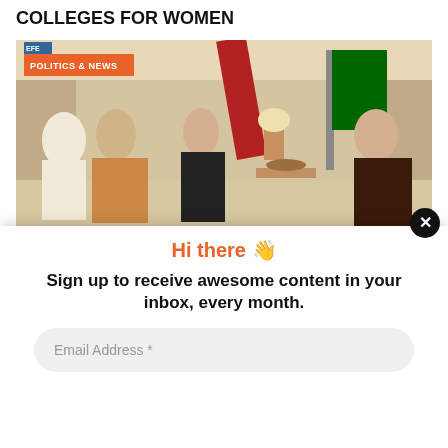COLLEGES FOR WOMEN
[Figure (photo): Meeting scene with several men in traditional Saudi attire seated in a formal room with curtains and a Saudi flag. A 'POLITICS & NEWS' badge overlays the top-left corner.]
Hi there 👋
Sign up to receive awesome content in your inbox, every month.
Email Address *